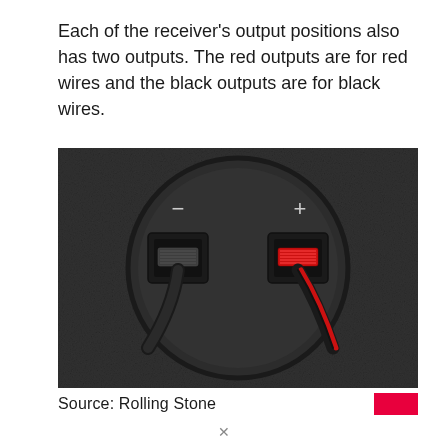Each of the receiver's output positions also has two outputs. The red outputs are for red wires and the black outputs are for black wires.
[Figure (photo): Close-up photo of a speaker terminal cup showing a circular black plastic housing with two binding post ports labeled minus (−) and plus (+). A black wire is inserted in the negative port on the left, and a red-and-black speaker wire with red connector is inserted in the positive port on the right.]
Source: Rolling Stone